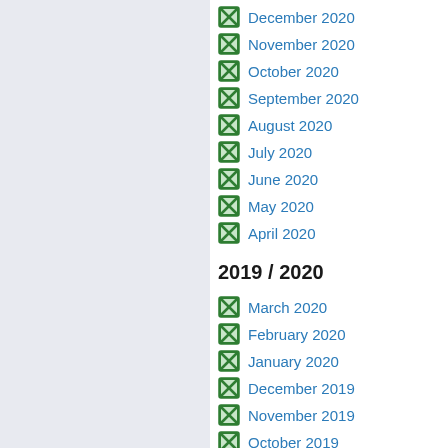December 2020
November 2020
October 2020
September 2020
August 2020
July 2020
June 2020
May 2020
April 2020
2019 / 2020
March 2020
February 2020
January 2020
December 2019
November 2019
October 2019
September 2019